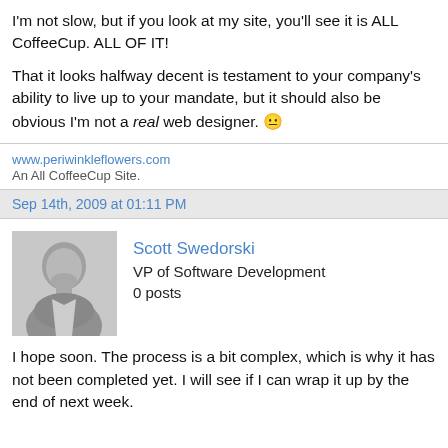I'm not slow, but if you look at my site, you'll see it is ALL CoffeeCup. ALL OF IT!
That it looks halfway decent is testament to your company's ability to live up to your mandate, but it should also be obvious I'm not a real web designer. 😐
www.periwinkleflowers.com
An All CoffeeCup Site.
Sep 14th, 2009 at 01:11 PM
Scott Swedorski
VP of Software Development
0 posts
I hope soon. The process is a bit complex, which is why it has not been completed yet. I will see if I can wrap it up by the end of next week.